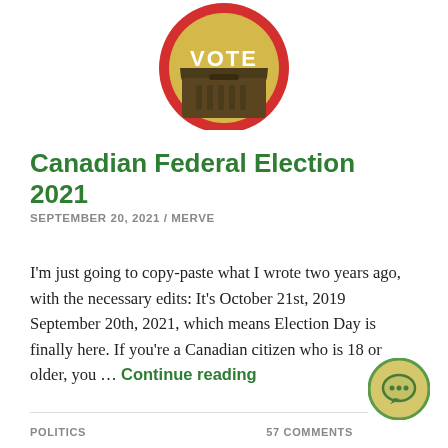[Figure (illustration): A circular vote badge/button with red outer ring, gold/yellow inner circle, and dark brown bottom half showing ballot slot with 'VOTE' text in white on dark brown background.]
Canadian Federal Election 2021
SEPTEMBER 20, 2021 / MERVE
I'm just going to copy-paste what I wrote two years ago, with the necessary edits: It's October 21st, 2019 September 20th, 2021, which means Election Day is finally here. If you're a Canadian citizen who is 18 or older, you … Continue reading
POLITICS    57 COMMENTS